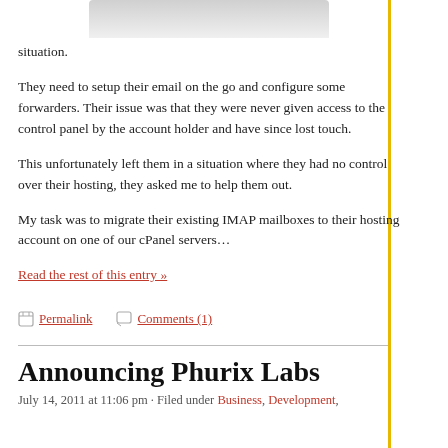[Figure (photo): Partial image visible at top of page, gray gradient placeholder]
situation.
They need to setup their email on the go and configure some forwarders. Their issue was that they were never given access to the control panel by the account holder and have since lost touch.
This unfortunately left them in a situation where they had no control over their hosting, they asked me to help them out.
My task was to migrate their existing IMAP mailboxes to their hosting account on one of our cPanel servers…
Read the rest of this entry »
Permalink   Comments (1)
Announcing Phurix Labs
July 14, 2011 at 11:06 pm · Filed under Business, Development,